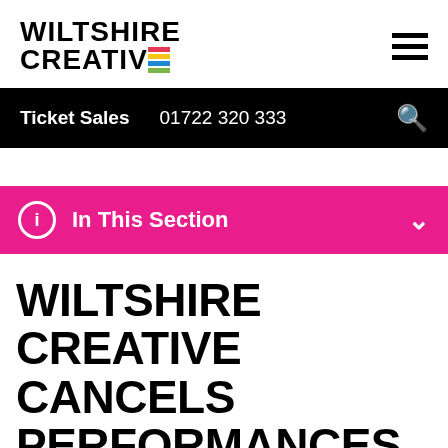[Figure (logo): Wiltshire Creative logo with colored stripes replacing the E in CREATIVE]
Ticket Sales  01722 320 333
In This Section
WILTSHIRE CREATIVE CANCELS PERFORMANCES AT SALISBURY PLAYHOUSE AND SALISBURY ARTS CENTRE